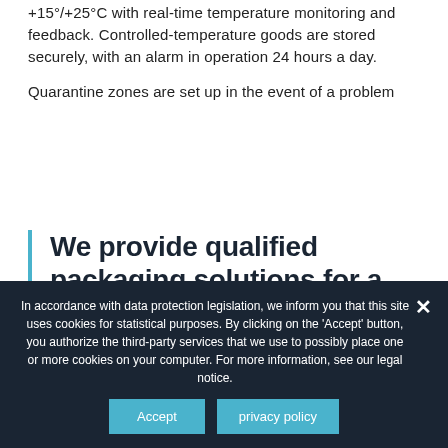+15°/+25°C with real-time temperature monitoring and feedback. Controlled-temperature goods are stored securely, with an alarm in operation 24 hours a day.
Quarantine zones are set up in the event of a problem
We provide qualified packaging solutions for a controlled temperature at all
In accordance with data protection legislation, we inform you that this site uses cookies for statistical purposes. By clicking on the 'Accept' button, you authorize the third-party services that we use to possibly place one or more cookies on your computer. For more information, see our legal notice.